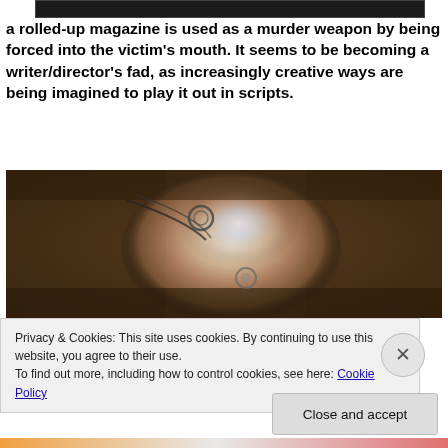[Figure (photo): Partial top of a dark image, appearing to be a cropped photo at the very top of the page]
a rolled-up magazine is used as a murder weapon by being forced into the victim's mouth. It seems to be becoming a writer/director's fad, as increasingly creative ways are being imagined to play it out in scripts.
[Figure (photo): Close-up photograph of a person's face viewed from above, with metal restraints/clamps, dramatic lighting with iridescent glow on the face against a dark brown background]
Privacy & Cookies: This site uses cookies. By continuing to use this website, you agree to their use.
To find out more, including how to control cookies, see here: Cookie Policy
Close and accept